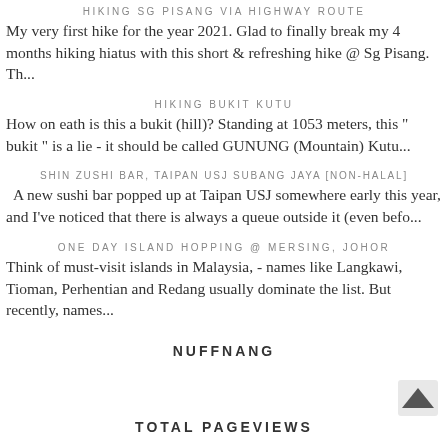HIKING SG PISANG VIA HIGHWAY ROUTE
My very first hike for the year 2021. Glad to finally break my 4 months hiking hiatus with this short & refreshing hike @ Sg Pisang.  Th...
HIKING BUKIT KUTU
How on eath is this a bukit (hill)? Standing at 1053 meters, this " bukit " is a lie - it should be called GUNUNG (Mountain) Kutu...
SHIN ZUSHI BAR, TAIPAN USJ SUBANG JAYA [NON-HALAL]
A new sushi bar popped up at Taipan USJ somewhere early this year, and I've noticed that there is always a queue outside it (even befo...
ONE DAY ISLAND HOPPING @ MERSING, JOHOR
Think of must-visit islands in Malaysia, - names like Langkawi, Tioman, Perhentian and Redang usually dominate the list. But recently, names...
NUFFNANG
TOTAL PAGEVIEWS